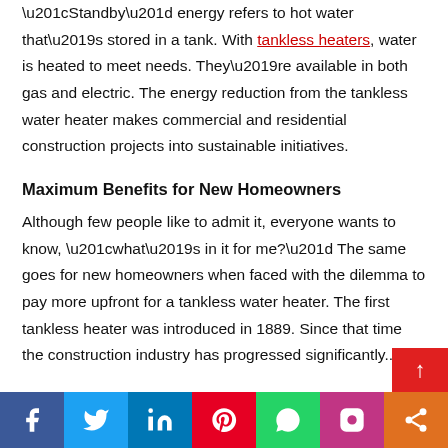“Standby” energy refers to hot water that’s stored in a tank. With tankless heaters, water is heated to meet needs. They’re available in both gas and electric. The energy reduction from the tankless water heater makes commercial and residential construction projects into sustainable initiatives.
Maximum Benefits for New Homeowners
Although few people like to admit it, everyone wants to know, “what’s in it for me?” The same goes for new homeowners when faced with the dilemma to pay more upfront for a tankless water heater. The first tankless heater was introduced in 1889. Since that time the construction industry has progressed significantly...